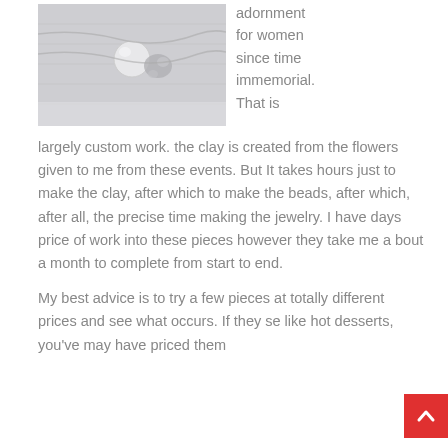[Figure (photo): Silver jewelry piece with pearl and floral metalwork on a light background]
adornment for women since time immemorial. That is
largely custom work. the clay is created from the flowers given to me from these events. But It takes hours just to make the clay, after which to make the beads, after which, after all, the precise time making the jewelry. I have days price of work into these pieces however they take me a bout a month to complete from start to end.
My best advice is to try a few pieces at totally different prices and see what occurs. If they se like hot desserts, you've may have priced them